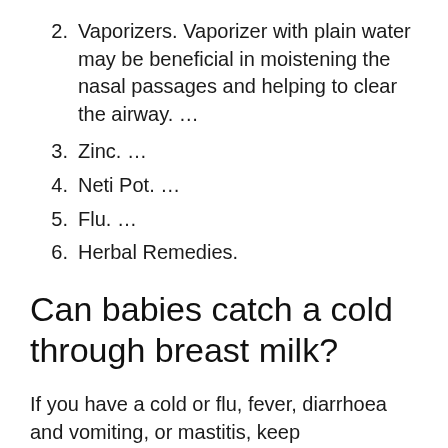2. Vaporizers. Vaporizer with plain water may be beneficial in moistening the nasal passages and helping to clear the airway. …
3. Zinc. …
4. Neti Pot. …
5. Flu. …
6. Herbal Remedies.
Can babies catch a cold through breast milk?
If you have a cold or flu, fever, diarrhoea and vomiting, or mastitis, keep breastfeeding as normal. Your baby won't catch the illness through your breast milk – in fact, it will contain antibodies to reduce her risk of